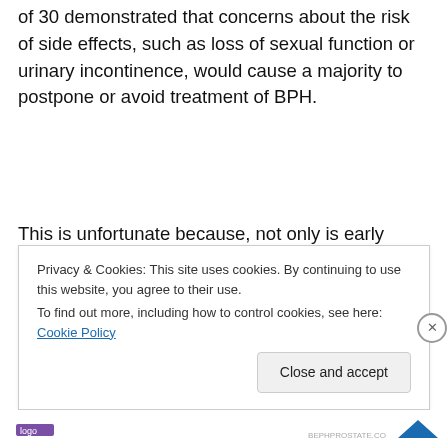of 30 demonstrated that concerns about the risk of side effects, such as loss of sexual function or urinary incontinence, would cause a majority to postpone or avoid treatment of BPH.
This is unfortunate because, not only is early treatment important to alleviate symptoms and stop the disorder from worsening, but a new minimally invasive treatment option is available that does not require cutting
Privacy & Cookies: This site uses cookies. By continuing to use this website, you agree to their use.
To find out more, including how to control cookies, see here: Cookie Policy